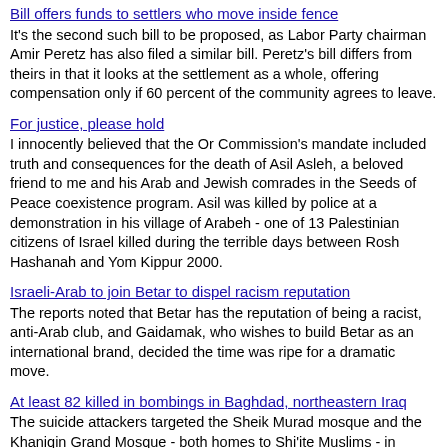Bill offers funds to settlers who move inside fence
It's the second such bill to be proposed, as Labor Party chairman Amir Peretz has also filed a similar bill. Peretz's bill differs from theirs in that it looks at the settlement as a whole, offering compensation only if 60 percent of the community agrees to leave.
For justice, please hold
I innocently believed that the Or Commission's mandate included truth and consequences for the death of Asil Asleh, a beloved friend to me and his Arab and Jewish comrades in the Seeds of Peace coexistence program. Asil was killed by police at a demonstration in his village of Arabeh - one of 13 Palestinian citizens of Israel killed during the terrible days between Rosh Hashanah and Yom Kippur 2000.
Israeli-Arab to join Betar to dispel racism reputation
The reports noted that Betar has the reputation of being a racist, anti-Arab club, and Gaidamak, who wishes to build Betar as an international brand, decided the time was ripe for a dramatic move.
At least 82 killed in bombings in Baghdad, northeastern Iraq
The suicide attackers targeted the Sheik Murad mosque and the Khaniqin Grand Mosque - both homes to Shi'ite Muslims - in Khanaqin, 140 kilometers northeast of Baghdad, as dozens of